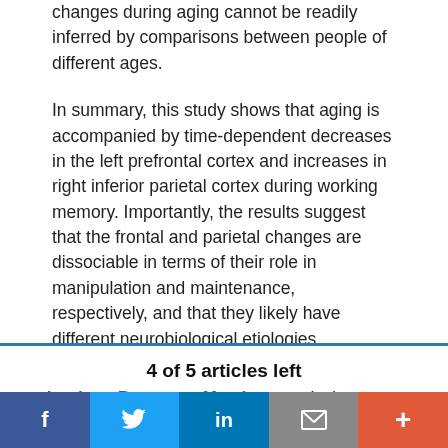changes during aging cannot be readily inferred by comparisons between people of different ages.
In summary, this study shows that aging is accompanied by time-dependent decreases in the left prefrontal cortex and increases in right inferior parietal cortex during working memory. Importantly, the results suggest that the frontal and parietal changes are dissociable in terms of their role in manipulation and maintenance, respectively, and that they likely have different neurobiological etiologies.
Visit eNeuro to read the original article and explore
4 of 5 articles left
Login or Become a Member to unlock content
f  Twitter bird  in  email  +